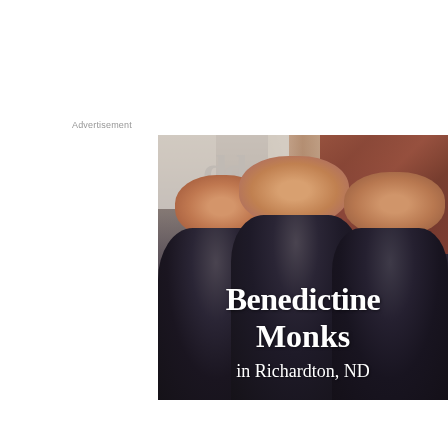Advertisement
[Figure (photo): Three Benedictine monks wearing dark robes standing together in front of a brick building with stone columns, smiling at the camera. Overlaid text reads 'Benedictine Monks in Richardton, ND'.]